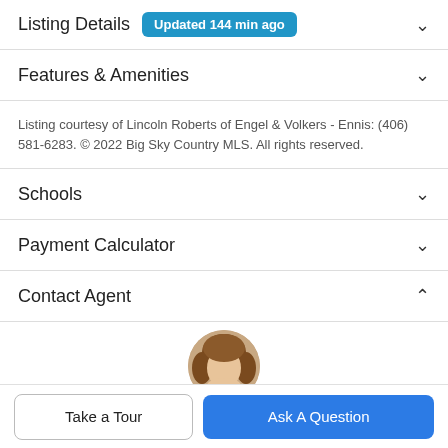Listing Details Updated 144 min ago
Features & Amenities
Listing courtesy of Lincoln Roberts of Engel & Volkers - Ennis: (406) 581-6283. © 2022 Big Sky Country MLS. All rights reserved.
Schools
Payment Calculator
Contact Agent
[Figure (photo): Partial view of a woman's head (agent photo), circular crop, brown hair]
Take a Tour
Ask A Question